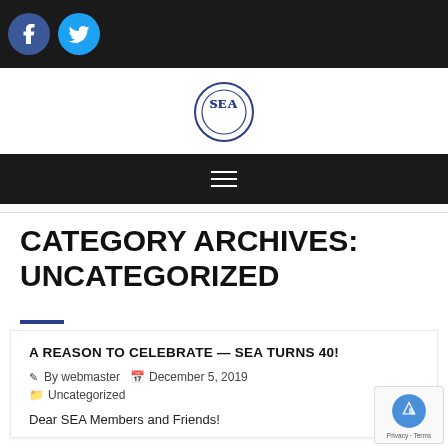[Figure (logo): Dark top bar with Facebook (blue circle f) and Twitter (cyan circle bird) social media icons]
[Figure (logo): SEA organization circular logo with SEA text in dark blue serif font]
[Figure (other): Dark navigation bar with hamburger menu icon (three horizontal white lines)]
CATEGORY ARCHIVES: UNCATEGORIZED
A REASON TO CELEBRATE — SEA TURNS 40!
By webmaster   December 5, 2019
Uncategorized
Dear SEA Members and Friends!